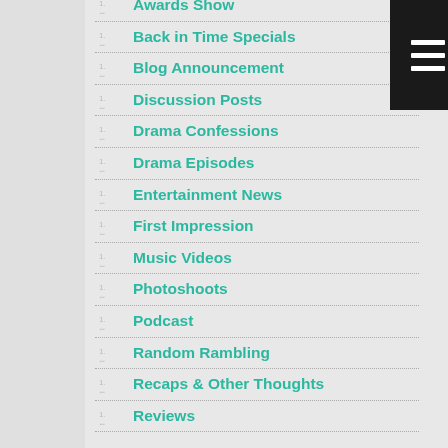Awards Show
Back in Time Specials
Blog Announcement
Discussion Posts
Drama Confessions
Drama Episodes
Entertainment News
First Impression
Music Videos
Photoshoots
Podcast
Random Rambling
Recaps & Other Thoughts
Reviews